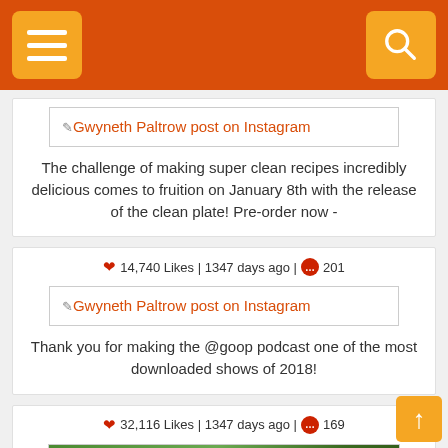Navigation bar with hamburger menu and search icon
[Figure (screenshot): Gwyneth Paltrow post on Instagram placeholder image]
The challenge of making super clean recipes incredibly delicious comes to fruition on January 8th with the release of the clean plate! Pre-order now -
❤ 14,740 Likes | 1347 days ago | 💬 201
[Figure (screenshot): Gwyneth Paltrow post on Instagram placeholder image]
Thank you for making the @goop podcast one of the most downloaded shows of 2018!
❤ 32,116 Likes | 1347 days ago | 💬 169
[Figure (photo): Video thumbnail showing palm trees and Christmas decorations with a play button]